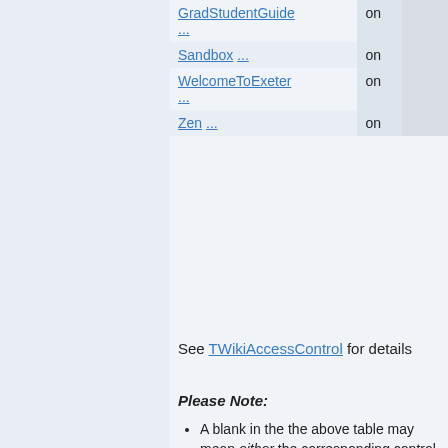| Web | on |  |
| --- | --- | --- |
| GradStudentGuide ... | on |  |
| Sandbox ... | on |  |
| WelcomeToExeter ... | on |  |
| Zen ... | on |  |
See TWikiAccessControl for details
Please Note:
A blank in the the above table may mean either the corresponding control is absent or commented out or that it has been set to a null value. The two conditions have dramatically different and possibly opposed semantics.
TWikiGuest is the guest account - used by unauthenticated users.